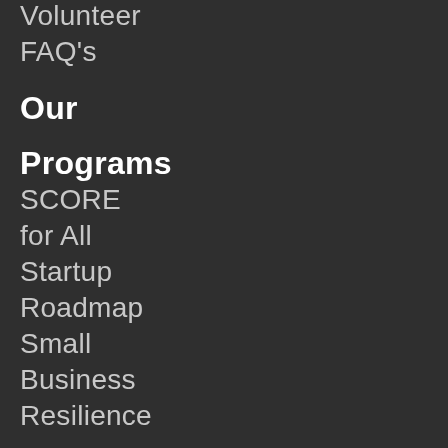Volunteer
FAQ's
Our Programs
SCORE
for All
Startup
Roadmap
Small
Business
Resilience
Learning
Center
Virtual
Conference